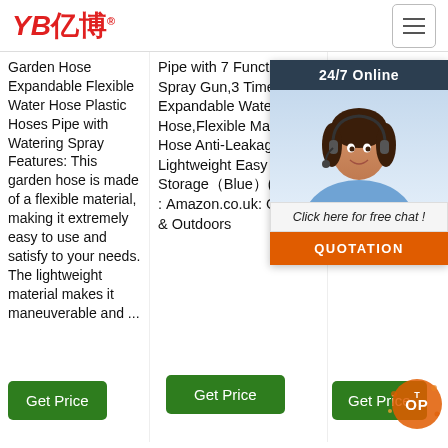[Figure (logo): YB亿博 logo in red with registered trademark symbol]
Garden Hose Expandable Flexible Water Hose Plastic Hoses Pipe with Watering Spray Features: This garden hose is made of a flexible material, making it extremely easy to use and satisfy to your needs. The lightweight material makes it maneuverable and ...
Pipe with 7 Function Spray Gun,3 Times Expandable Watering Hose,Flexible Magic Hose Anti-Leakage Lightweight Easy Storage（Blue）(100Ft) : Amazon.co.uk: Garden & Outdoors
can be used on its own you sys a w len size bud req Mo Rea The you Pipe Buyers Satisf...
[Figure (photo): Customer service representative with headset, 24/7 Online chat widget with QUOTATION button]